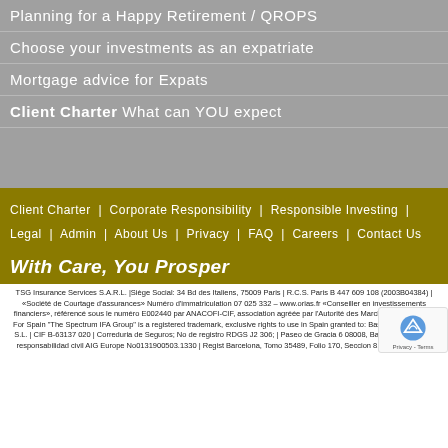Planning for a Happy Retirement / QROPS
Choose your investments as an expatriate
Mortgage advice for Expats
Client Charter What can YOU expect
Client Charter | Corporate Responsibility | Responsible Investing | Legal | Admin | About Us | Privacy | FAQ | Careers | Contact Us
With Care, You Prosper
TSG Insurance Services S.A.R.L. |Siège Social: 34 Bd des Italiens, 75009 Paris | R.C.S. Paris B 447 609 108 (2003B04384) | «Société de Courtage d'assurances» Numéro d'immatriculation 07 025 332 – www.orias.fr «Conseiller en investissements financiers», référencé sous le numéro E002440 par ANACOFI-CIF, association agréée par l'Autorité des Marchés Financiers» | For Spain "The Spectrum IFA Group" is a registered trademark, exclusive rights to use in Spain granted to: Baskerville Advisors S.L. | CIF B-63137020 | Correduria de Seguros; No de registro RDGS J2306; | Paseo de Gracia 6 08008, Barcelona | Seguro responsabilidad civil AIG Europe No0131900503.1330 | Registr Barcelona, Tomo 35489, Folio 170, Seccion 8, Hoja B-269534